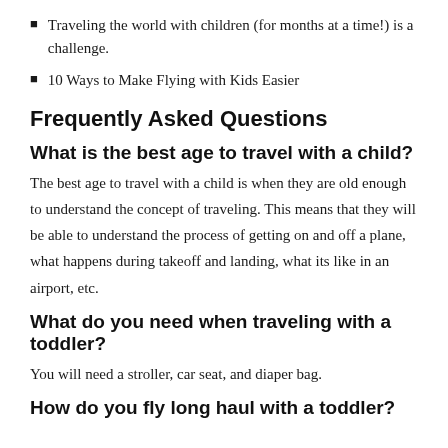Traveling the world with children (for months at a time!) is a challenge.
10 Ways to Make Flying with Kids Easier
Frequently Asked Questions
What is the best age to travel with a child?
The best age to travel with a child is when they are old enough to understand the concept of traveling. This means that they will be able to understand the process of getting on and off a plane, what happens during takeoff and landing, what its like in an airport, etc.
What do you need when traveling with a toddler?
You will need a stroller, car seat, and diaper bag.
How do you fly long haul with a toddler?